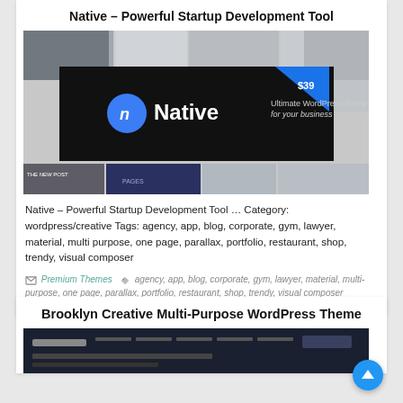Native – Powerful Startup Development Tool
[Figure (screenshot): Screenshot of the Native WordPress theme product page showing a black banner with the Native logo and tagline 'Ultimate WordPress theme for your business', with a $39 price tag in blue corner ribbon, surrounded by various website layout previews.]
Native – Powerful Startup Development Tool … Category: wordpress/creative Tags: agency, app, blog, corporate, gym, lawyer, material, multi purpose, one page, parallax, portfolio, restaurant, shop, trendy, visual composer
Premium Themes  agency, app, blog, corporate, gym, lawyer, material, multi-purpose, one page, parallax, portfolio, restaurant, shop, trendy, visual composer
Brooklyn Creative Multi-Purpose WordPress Theme